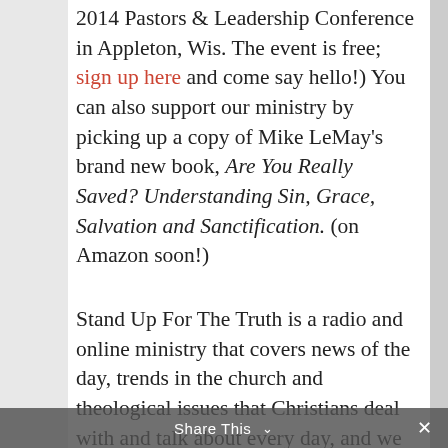2014 Pastors & Leadership Conference in Appleton, Wis. The event is free; sign up here and come say hello!) You can also support our ministry by picking up a copy of Mike LeMay's brand new book, Are You Really Saved? Understanding Sin, Grace, Salvation and Sanctification. (on Amazon soon!)
Stand Up For The Truth is a radio and online ministry that covers news of the day, trends in the church and theological issues that Christians deal with and talk about every day, and we give you a place to be educated, equipped and connected to help you discern
Share This ˅  ×